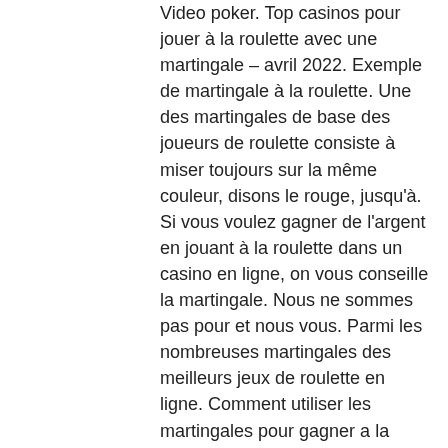Video poker. Top casinos pour jouer à la roulette avec une martingale – avril 2022. Exemple de martingale à la roulette. Une des martingales de base des joueurs de roulette consiste à miser toujours sur la même couleur, disons le rouge, jusqu'à. Si vous voulez gagner de l'argent en jouant à la roulette dans un casino en ligne, on vous conseille la martingale. Nous ne sommes pas pour et nous vous. Parmi les nombreuses martingales des meilleurs jeux de roulette en ligne. Comment utiliser les martingales pour gagner a la roulette de casino tout le monde sait bien qu'au casino, pas mal de joueurs parviennent régulièrement à Games Allowed: Casino Slots. Jun 07, 2021 Regularly updated list of no deposit bonus offers for onli. Get new exclusive casino promo codes and free spins bonuses. Best Online Casino No Deposit Bonus Codes 2021, casino en ligne